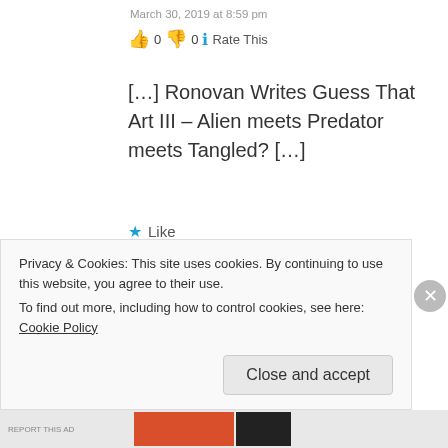March 30, 2019 at 8:59 pm
👍 0 👎 0 ℹ Rate This
[…] Ronovan Writes Guess That Art III – Alien meets Predator meets Tangled? […]
★ Like
Reply
Doom – Above the Noise
March 31, 2019 at 5:50 am
Privacy & Cookies: This site uses cookies. By continuing to use this website, you agree to their use. To find out more, including how to control cookies, see here: Cookie Policy
Close and accept